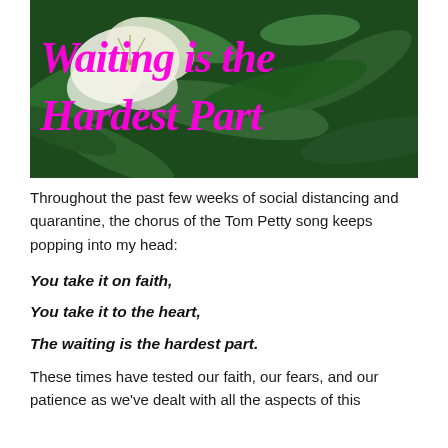[Figure (photo): A background photo of white lily flowers with green leaves, overlaid with the cursive pink text 'Waiting is the Hardest Part']
Waiting is the Hardest Part
Throughout the past few weeks of social distancing and quarantine, the chorus of the Tom Petty song keeps popping into my head:
You take it on faith,
You take it to the heart,
The waiting is the hardest part.
These times have tested our faith, our fears, and our patience as we've dealt with all the aspects of this